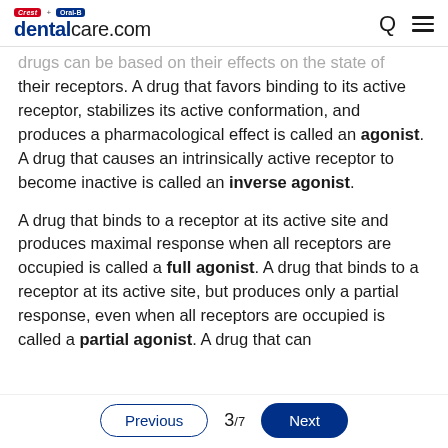Crest + Oral-B dentalcare.com
drugs can be based on their effects on the state of their receptors. A drug that favors binding to its active receptor, stabilizes its active conformation, and produces a pharmacological effect is called an agonist. A drug that causes an intrinsically active receptor to become inactive is called an inverse agonist.
A drug that binds to a receptor at its active site and produces maximal response when all receptors are occupied is called a full agonist. A drug that binds to a receptor at its active site, but produces only a partial response, even when all receptors are occupied is called a partial agonist. A drug that can
Previous  3/7  Next